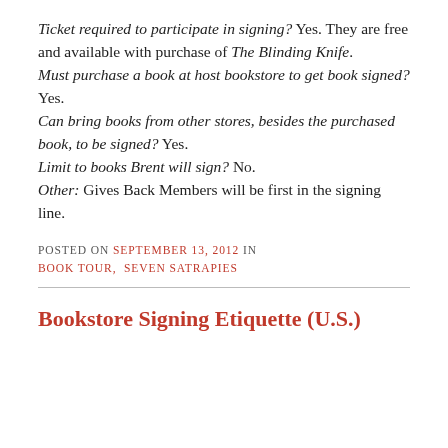Ticket required to participate in signing? Yes. They are free and available with purchase of The Blinding Knife. Must purchase a book at host bookstore to get book signed? Yes. Can bring books from other stores, besides the purchased book, to be signed? Yes. Limit to books Brent will sign? No. Other: Gives Back Members will be first in the signing line.
POSTED ON SEPTEMBER 13, 2012 IN BOOK TOUR, SEVEN SATRAPIES
Bookstore Signing Etiquette (U.S.)